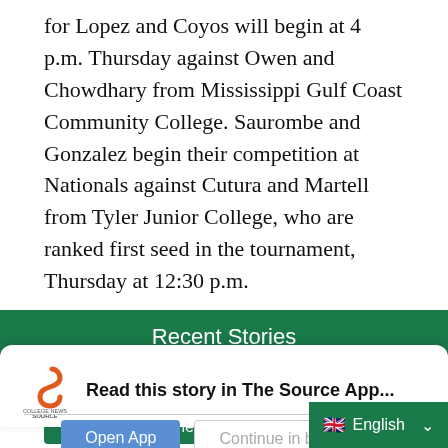for Lopez and Coyos will begin at 4 p.m. Thursday against Owen and Chowdhary from Mississippi Gulf Coast Community College. Saurombe and Gonzalez begin their competition at Nationals against Cutura and Martell from Tyler Junior College, who are ranked first seed in the tournament, Thursday at 12:30 p.m.
Fall 2013
ITA
Lady Saints
National Tournament
Saints
Seward County Community College
Tennis
Recent Stories
Read this story in The Source App...
Open App
Continue in browser
English